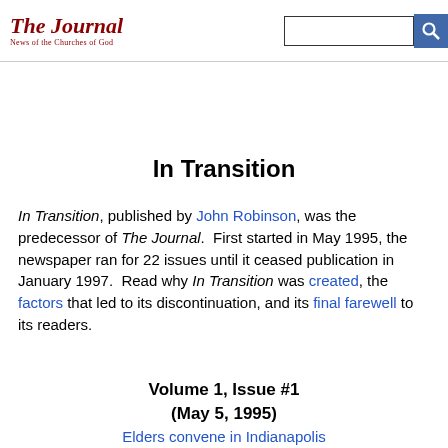The Journal — News of the Churches of God
In Transition
In Transition, published by John Robinson, was the predecessor of The Journal.  First started in May 1995, the newspaper ran for 22 issues until it ceased publication in January 1997.  Read why In Transition was created, the factors that led to its discontinuation, and its final farewell to its readers.
Volume 1, Issue #1
(May 5, 1995)
Elders convene in Indianapolis